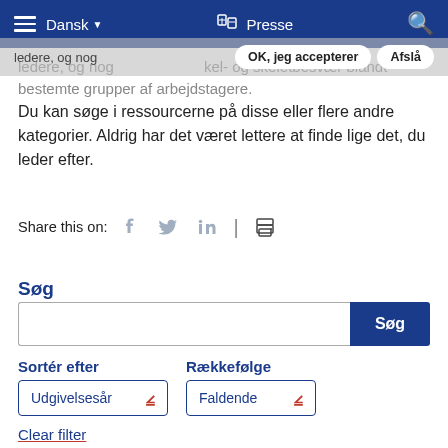Dansk | Presse
ledere, og nog... kel- og skeletbesvær blandt bestemte grupper af arbejdstagere.
Du kan søge i ressourcerne på disse eller flere andre kategorier. Aldrig har det været lettere at finde lige det, du leder efter.
Share this on:
Søg
Sortér efter
Rækkefølge
Clear filter